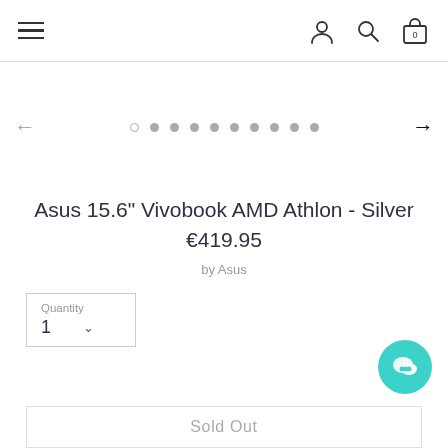Navigation header with hamburger menu, user icon, search icon, and bag icon (0 items)
[Figure (other): Image carousel with left arrow, 10 dots (first dot open/outline, rest filled grey), and right arrow]
Asus 15.6" Vivobook AMD Athlon - Silver
€419.95
by Asus
Quantity
1
Sold Out